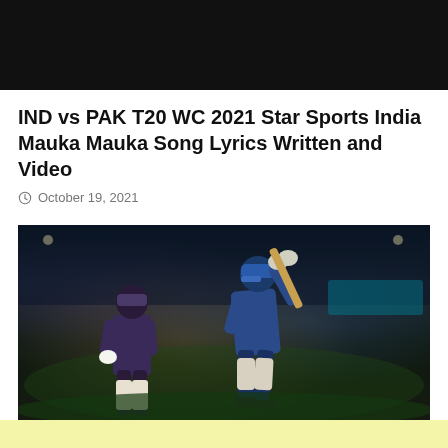[Figure (photo): Black video player banner at top of page]
IND vs PAK T20 WC 2021 Star Sports India Mauka Mauka Song Lyrics Written and Video
October 19, 2021
[Figure (photo): Cricket match photo showing two players: a KKR fielder on the left and a Mumbai Indians batsman on the right mid-swing, on a floodlit cricket ground]
[Figure (other): Light yellow advertisement banner at the bottom of the page]